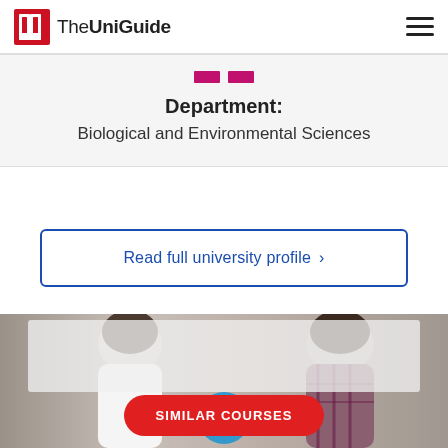The UniGuide
Department: Biological and Environmental Sciences
Read full university profile >
[Figure (photo): Two students seen from behind, one in white shirt and one in plaid shirt, with a blue chat/document icon circle overlay and a semi-transparent card.]
SIMILAR COURSES